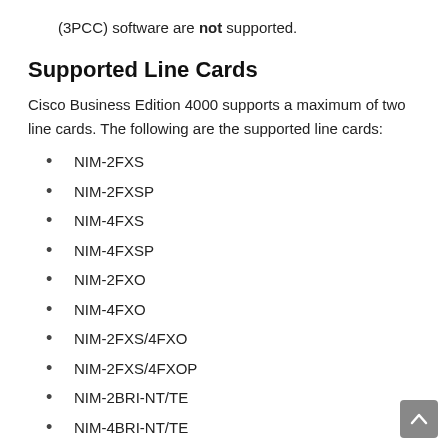(3PCC) software are not supported.
Supported Line Cards
Cisco Business Edition 4000 supports a maximum of two line cards. The following are the supported line cards:
NIM-2FXS
NIM-2FXSP
NIM-4FXS
NIM-4FXSP
NIM-2FXO
NIM-4FXO
NIM-2FXS/4FXO
NIM-2FXS/4FXOP
NIM-2BRI-NT/TE
NIM-4BRI-NT/TE
NIM-1MFT-T1/E1 (requires PVDM4-32)